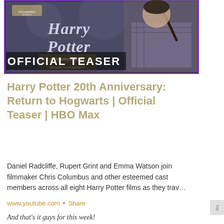[Figure (screenshot): Harry Potter 20th Anniversary: Return to Hogwarts Official Teaser thumbnail. Shows Harry Potter holding a wand with purple border. Text reads 'OFFICIAL TEASER' in white. Wizarding World logo and Harry Potter stylized text in the upper left.]
Harry Potter 20th Anniversary: Return to Hogwarts | Official Teaser | HBO Max
Daniel Radcliffe, Rupert Grint and Emma Watson join filmmaker Chris Columbus and other esteemed cast members across all eight Harry Potter films as they trav…
www.youtube.com • Share
And that's it guys for this week!